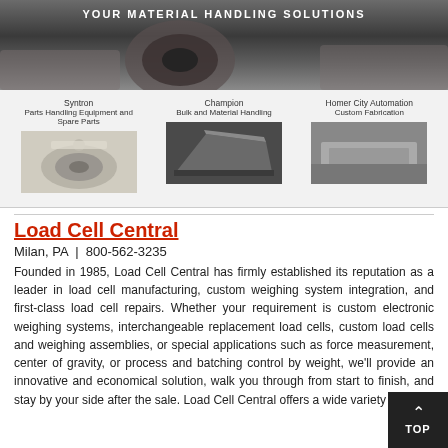[Figure (photo): Banner image with industrial mechanical parts and text 'YOUR MATERIAL HANDLING SOLUTIONS']
[Figure (infographic): Navigation bar showing three product categories: Syntron Parts Handling Equipment and Spare Parts, Champion Bulk and Material Handling, Homer City Automation Custom Fabrication, each with a product image below]
Load Cell Central
Milan, PA | 800-562-3235
Founded in 1985, Load Cell Central has firmly established its reputation as a leader in load cell manufacturing, custom weighing system integration, and first-class load cell repairs. Whether your requirement is custom electronic weighing systems, interchangeable replacement load cells, custom load cells and weighing assemblies, or special applications such as force measurement, center of gravity, or process and batching control by weight, we'll provide an innovative and economical solution, walk you through from start to finish, and stay by your side after the sale. Load Cell Central offers a wide variety of po